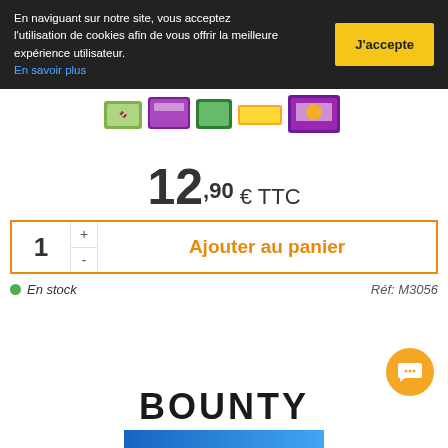En naviguant sur notre site, vous acceptez l'utilisation de cookies afin de vous offrir la meilleure expérience utilisateur. En savoir plus
J'accepte
[Figure (photo): Product image showing assorted candy/chocolate bar packages]
12,90 € TTC
1
Ajouter au panier
En stock
Réf: M3056
BOUNTY